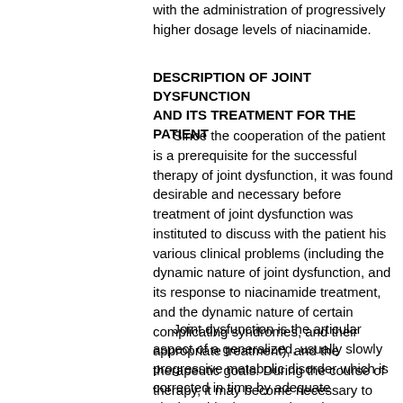with the administration of progressively higher dosage levels of niacinamide.
DESCRIPTION OF JOINT DYSFUNCTION AND ITS TREATMENT FOR THE PATIENT
Since the cooperation of the patient is a prerequisite for the successful therapy of joint dysfunction, it was found desirable and necessary before treatment of joint dysfunction was instituted to discuss with the patient his various clinical problems (including the dynamic nature of joint dysfunction, and its response to niacinamide treatment, and the dynamic nature of certain complicating syndromes, and their appropriate treatment), and the therapeutic goals. During the course of therapy, it may become necessary to review and amplify this discussion for the benefit of the patient as various clinical problems arise.
Joint dysfunction is the articular aspect of a generalized, usually slowly progressive metabolic disorder which is corrected in time by adequate niacinamide therapy. Since the retrograde changes in tissue